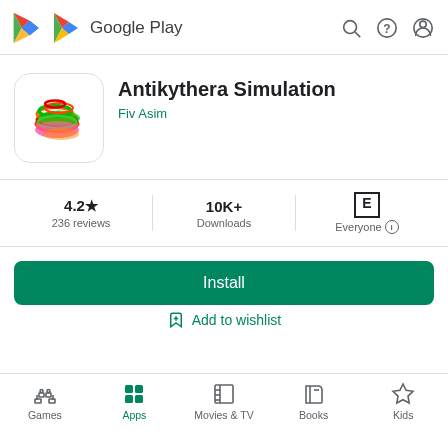[Figure (logo): Google Play logo with triangle icon and 'Google Play' text]
[Figure (illustration): App icon for Antikythera Simulation showing colorful overlapping gear-like rings in red, green, orange, pink on white background with rounded corners]
Antikythera Simulation
Fiv Asim
4.2★
236 reviews
10K+
Downloads
E
Everyone
Install
Add to wishlist
Games  Apps  Movies & TV  Books  Kids